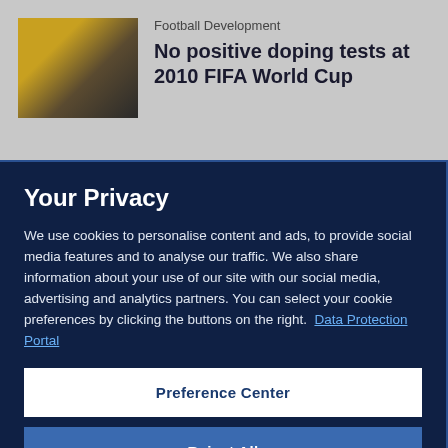Football Development
No positive doping tests at 2010 FIFA World Cup
Your Privacy
We use cookies to personalise content and ads, to provide social media features and to analyse our traffic. We also share information about your use of our site with our social media, advertising and analytics partners. You can select your cookie preferences by clicking the buttons on the right.  Data Protection Portal
Preference Center
Reject All
I'm OK with that